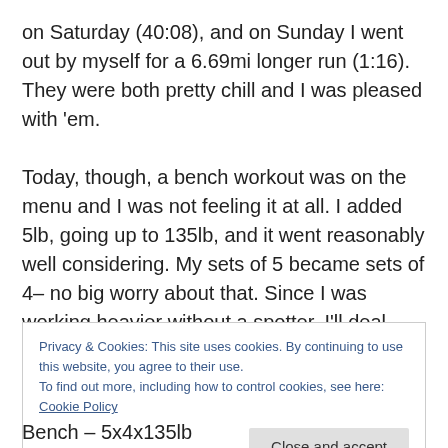on Saturday (40:08), and on Sunday I went out by myself for a 6.69mi longer run (1:16). They were both pretty chill and I was pleased with 'em.

Today, though, a bench workout was on the menu and I was not feeling it at all. I added 5lb, going up to 135lb, and it went reasonably well considering. My sets of 5 became sets of 4– no big worry about that. Since I was working heavier without a spotter, I'll deal with shorter sets rather than worrying about failing pushing for 5. I'll probably do one more workout at 135lb this week and try to go to 140lb
Privacy & Cookies: This site uses cookies. By continuing to use this website, you agree to their use.
To find out more, including how to control cookies, see here: Cookie Policy
Bench – 5x4x135lb